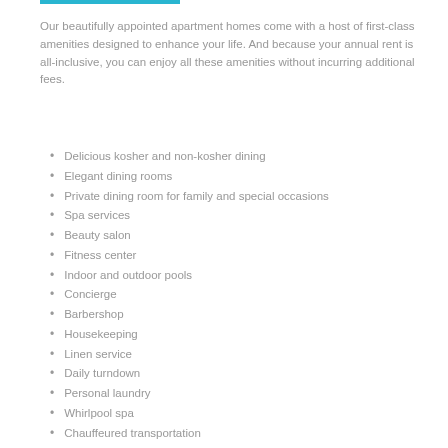Our beautifully appointed apartment homes come with a host of first-class amenities designed to enhance your life. And because your annual rent is all-inclusive, you can enjoy all these amenities without incurring additional fees.
Delicious kosher and non-kosher dining
Elegant dining rooms
Private dining room for family and special occasions
Spa services
Beauty salon
Fitness center
Indoor and outdoor pools
Concierge
Barbershop
Housekeeping
Linen service
Daily turndown
Personal laundry
Whirlpool spa
Chauffeured transportation